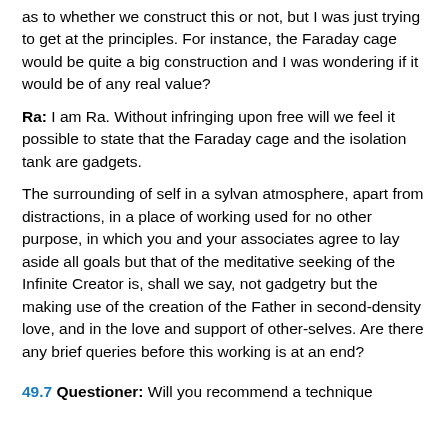as to whether we construct this or not, but I was just trying to get at the principles. For instance, the Faraday cage would be quite a big construction and I was wondering if it would be of any real value?
Ra: I am Ra. Without infringing upon free will we feel it possible to state that the Faraday cage and the isolation tank are gadgets.
The surrounding of self in a sylvan atmosphere, apart from distractions, in a place of working used for no other purpose, in which you and your associates agree to lay aside all goals but that of the meditative seeking of the Infinite Creator is, shall we say, not gadgetry but the making use of the creation of the Father in second-density love, and in the love and support of other-selves. Are there any brief queries before this working is at an end?
49.7 Questioner: Will you recommend a technique